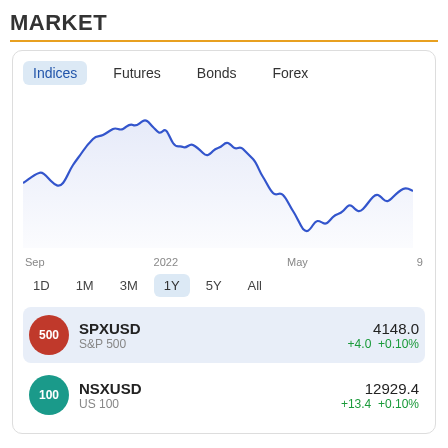MARKET
[Figure (line-chart): Line chart showing S&P 500 index performance over 1 year from Sep 2021 to May 2022 and beyond to date 9, with a peak around early 2022 and a significant decline into mid-2022, then partial recovery.]
Indices   Futures   Bonds   Forex
Sep   2022   May   9
1D   1M   3M   1Y   5Y   All
SPXUSD   S&P 500   4148.0   +4.0   +0.10%
NSXUSD   US 100   12929.4   +13.4   +0.10%